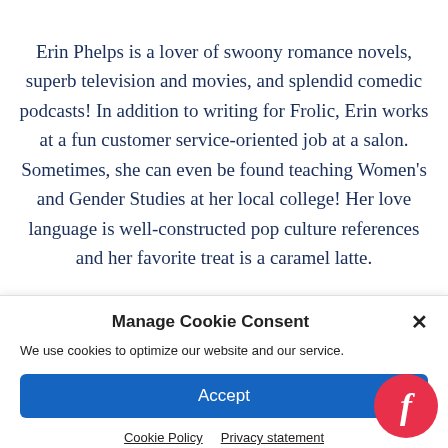Erin Phelps is a lover of swoony romance novels, superb television and movies, and splendid comedic podcasts! In addition to writing for Frolic, Erin works at a fun customer service-oriented job at a salon. Sometimes, she can even be found teaching Women's and Gender Studies at her local college! Her love language is well-constructed pop culture references and her favorite treat is a caramel latte.
Manage Cookie Consent
We use cookies to optimize our website and our service.
Accept
Cookie Policy   Privacy statement